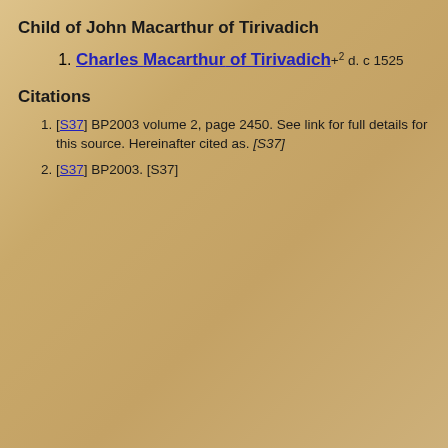Child of John Macarthur of Tirivadich
Charles Macarthur of Tirivadich+2 d. c 1525
Citations
[S37] BP2003 volume 2, page 2450. See link for full details for this source. Hereinafter cited as. [S37]
[S37] BP2003. [S37]